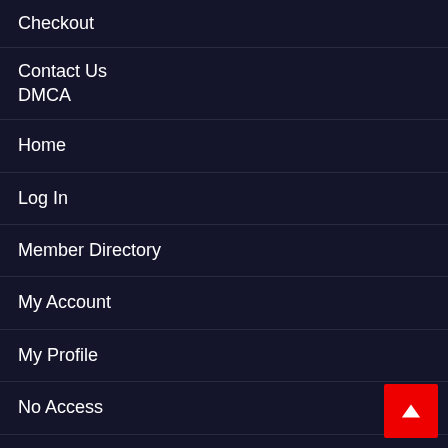Checkout
Contact Us
DMCA
Home
Log In
Member Directory
My Account
My Profile
No Access
Privacy Polic...